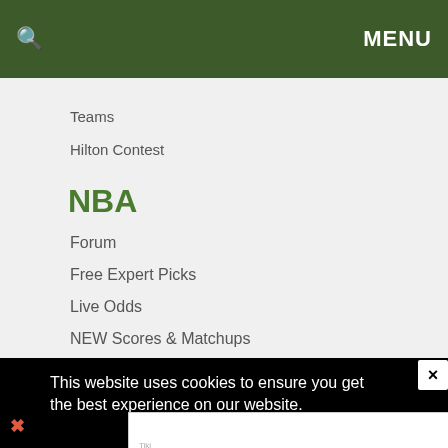MENU
Teams
Hilton Contest
NBA
Forum
Free Expert Picks
Live Odds
NEW Scores & Matchups
Trends
Injuries
This website uses cookies to ensure you get the best experience on our website.
[Figure (other): Advertisement banner: The perfect gift, 35% OFF + FREE SHIPPING]